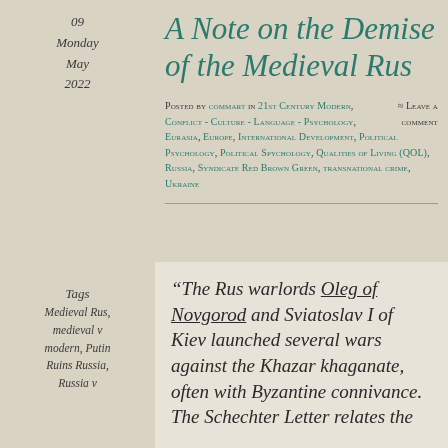09 Monday May 2022
A Note on the Demise of the Medieval Rus
Posted by commart in 21st Century Modern, Conflict - Culture - Language - Psychology, Eurasia, Europe, International Development, Political Psychology, Political Spychology, Qualities of Living (QOL), Russia, Syndicate Red Brown Green, transnational crime, Ukraine ≈ Leave a comment
Tags
Medieval Rus, medieval v modern, Putin Ruins Russia, Russia v
“The Rus warlords Oleg of Novgorod and Sviatoslav I of Kiev launched several wars against the Khazar khaganate, often with Byzantine connivance. The Schechter Letter relates the